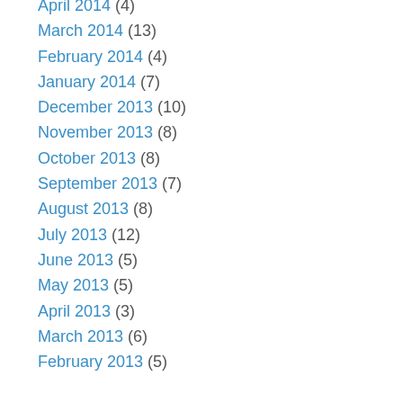April 2014 (4)
March 2014 (13)
February 2014 (4)
January 2014 (7)
December 2013 (10)
November 2013 (8)
October 2013 (8)
September 2013 (7)
August 2013 (8)
July 2013 (12)
June 2013 (5)
May 2013 (5)
April 2013 (3)
March 2013 (6)
February 2013 (5)